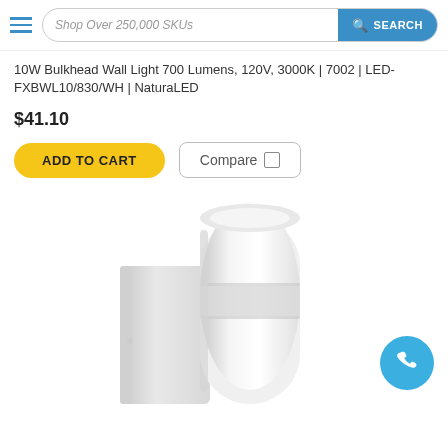Shop Over 250,000 SKUs  SEARCH
10W Bulkhead Wall Light 700 Lumens, 120V, 3000K | 7002 | LED-FXBWL10/830/WH | NaturaLED
$41.10
ADD TO CART  Compare
[Figure (photo): White cylindrical LED bulkhead wall light product photo on white background]